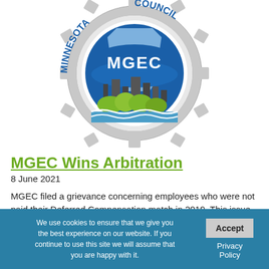[Figure (logo): MGEC (Minnesota Governmental Engineering Council) circular logo featuring a large gear, a blue banner with 'MGEC' text, a city skyline silhouette, green trees, and water waves. Text around the outer ring reads 'MINNESOTA' on the left and 'COUNCIL' on the right.]
MGEC Wins Arbitration
8 June 2021
MGEC filed a grievance concerning employees who were not paid their Deferred Compensation match in 2019. This issue impacted approximately 462 employees. Arbitrator Wallin found that the
We use cookies to ensure that we give you the best experience on our website. If you continue to use this site we will assume that you are happy with it.